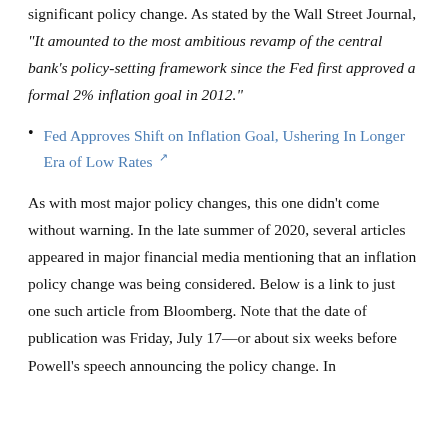significant policy change. As stated by the Wall Street Journal, "It amounted to the most ambitious revamp of the central bank's policy-setting framework since the Fed first approved a formal 2% inflation goal in 2012."
Fed Approves Shift on Inflation Goal, Ushering In Longer Era of Low Rates
As with most major policy changes, this one didn't come without warning. In the late summer of 2020, several articles appeared in major financial media mentioning that an inflation policy change was being considered. Below is a link to just one such article from Bloomberg. Note that the date of publication was Friday, July 17—or about six weeks before Powell's speech announcing the policy change. In